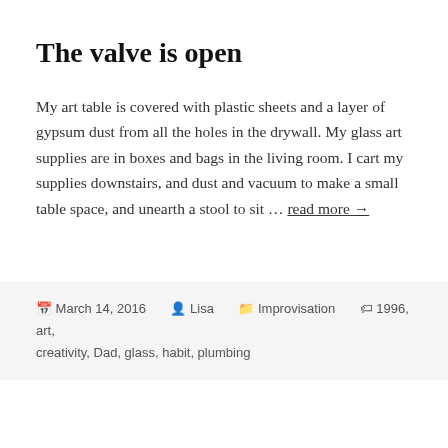The valve is open
My art table is covered with plastic sheets and a layer of gypsum dust from all the holes in the drywall. My glass art supplies are in boxes and bags in the living room. I cart my supplies downstairs, and dust and vacuum to make a small table space, and unearth a stool to sit … read more →
March 14, 2016  Lisa  Improvisation  1996, art, creativity, Dad, glass, habit, plumbing